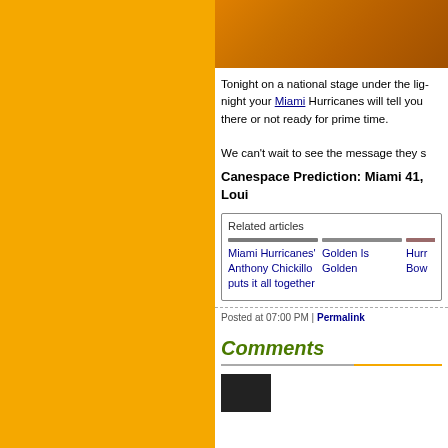[Figure (photo): Orange/brown toned decorative image at top of content area]
Tonight on a national stage under the lig night your Miami Hurricanes will tell you there or not ready for prime time.
We can't wait to see the message they s
Canespace Prediction: Miami 41, Loui
Related articles
Miami Hurricanes' Anthony Chickillo puts it all together
Golden Is Golden
Hurr Bow
Posted at 07:00 PM | Permalink
Comments
[Figure (photo): Small dark comment avatar thumbnail]